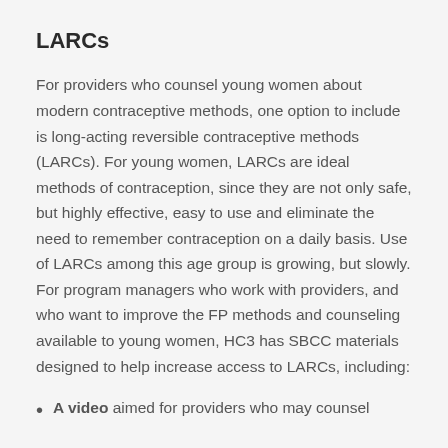LARCs
For providers who counsel young women about modern contraceptive methods, one option to include is long-acting reversible contraceptive methods (LARCs). For young women, LARCs are ideal methods of contraception, since they are not only safe, but highly effective, easy to use and eliminate the need to remember contraception on a daily basis. Use of LARCs among this age group is growing, but slowly. For program managers who work with providers, and who want to improve the FP methods and counseling available to young women, HC3 has SBCC materials designed to help increase access to LARCs, including:
A video aimed for providers who may counsel